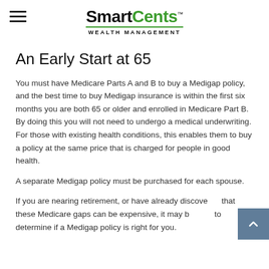SmartCents™ WEALTH MANAGEMENT
An Early Start at 65
You must have Medicare Parts A and B to buy a Medigap policy, and the best time to buy Medigap insurance is within the first six months you are both 65 or older and enrolled in Medicare Part B. By doing this you will not need to undergo a medical underwriting. For those with existing health conditions, this enables them to buy a policy at the same price that is charged for people in good health.
A separate Medigap policy must be purchased for each spouse.
If you are nearing retirement, or have already discovered that these Medicare gaps can be expensive, it may be wise to determine if a Medigap policy is right for you.